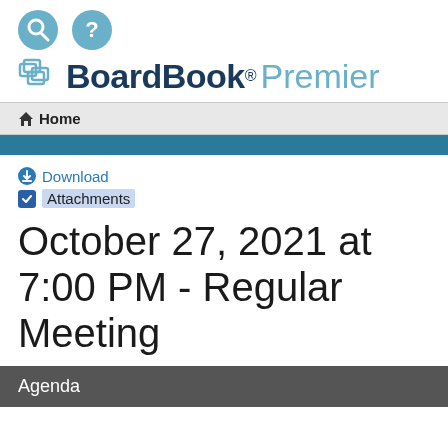[Figure (logo): BoardBook Premier logo with search and help icons]
Home
Download
Attachments
October 27, 2021 at 7:00 PM - Regular Meeting
Agenda